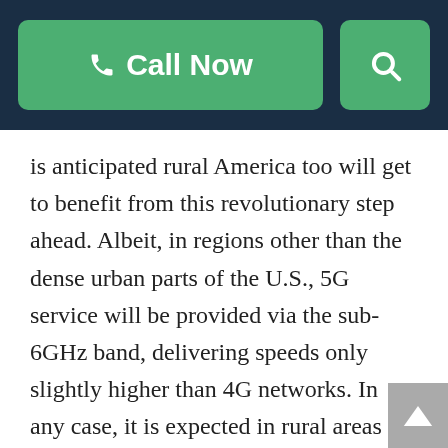[Figure (screenshot): Dark navy header bar with a green 'Call Now' button with phone icon on the left and a green search icon button on the right]
is anticipated rural America too will get to benefit from this revolutionary step ahead. Albeit, in regions other than the dense urban parts of the U.S., 5G service will be provided via the sub-6GHz band, delivering speeds only slightly higher than 4G networks. In any case, it is expected in rural areas 5G will function differently. It might result in introducing use of new and unique ways of living and harvesting for instance, more than becoming a source for residents to enjoy high-speed internet for browsing and streaming.